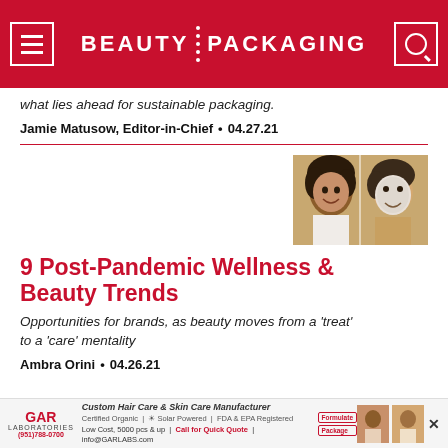BEAUTY PACKAGING
what lies ahead for sustainable packaging.
Jamie Matusow, Editor-in-Chief • 04.27.21
[Figure (photo): Two women with beauty/skincare products — one smiling woman and one with a face mask applied]
9 Post-Pandemic Wellness & Beauty Trends
Opportunities for brands, as beauty moves from a 'treat' to a 'care' mentality
Ambra Orini • 04.26.21
[Figure (other): GAR Laboratories advertisement — Custom Hair Care & Skin Care Manufacturer]